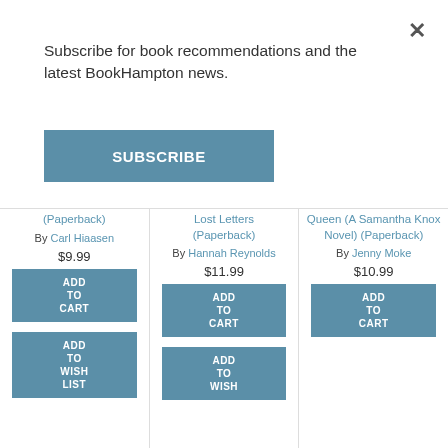Subscribe for book recommendations and the latest BookHampton news.
SUBSCRIBE
(Paperback) By Carl Hiaasen $9.99
Lost Letters (Paperback) By Hannah Reynolds $11.99
Queen (A Samantha Knox Novel) (Paperback) By Jenny Moke $10.99